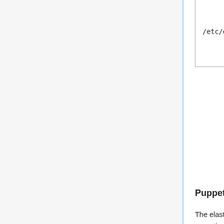|  |  |
| --- | --- |
| /etc/elasticsearch/elasticsearch.yml | Every... not c... above... cluste... name... multic... group... |
Puppet
The elasticsearch cluster is provisioned via the elasticsearch module of the operations/puppet repository. Configuration for specific machines is in the hieradata folder of the same operations/puppet repository. A few of the relevant files are linked here, but a grep for 'elasticsearch' in hieradata and poking around the elasticsearch puppet module are the best ways to understand the current configuration.